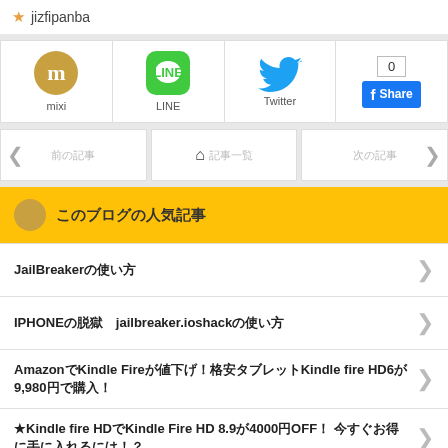jizfipanba
[Figure (screenshot): Social sharing icons row: mixi, LINE, Twitter, Facebook Share with count 0]
[Figure (screenshot): Navigation row with left arrow, home button, right arrow and Japanese text]
このブログの人気記事
JailBreakerの使い方
IPHONEの脱獄　jailbreaker.ioshackの使い方
AmazonでKindle Fireが値下げ！格安タブレットKindle fire HD6が9,980円で購入！
★Kindle fire HDでKindle Fire HD 8.9が4000円OFF！ 今すぐお得に手に入れるには！？。
「To Feel The Fire」歌詞　和訳 最高の FIRE動画まとめ